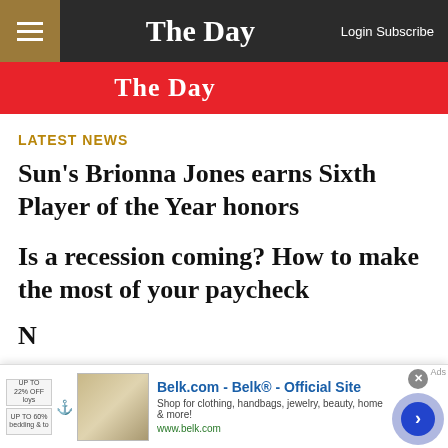The Day — Login Subscribe
[Figure (logo): The Day newspaper logo on red banner background]
LATEST NEWS
Sun's Brionna Jones earns Sixth Player of the Year honors
Is a recession coming? How to make the most of your paycheck
[Figure (screenshot): Belk.com advertisement overlay with close button and navigation arrow]